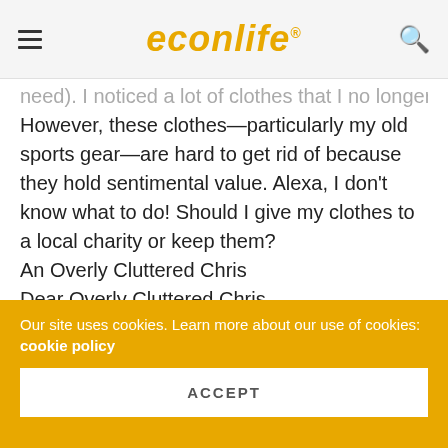econlife
need). I noticed a lot of clothes that I no longer wear. However, these clothes—particularly my old sports gear—are hard to get rid of because they hold sentimental value. Alexa, I don't know what to do! Should I give my clothes to a local charity or keep them?
An Overly Cluttered Chris
Dear Overly Cluttered Chris,
I am sorry to hear that you are struggling over whether or not to donate your clothes. However, you need not fret! Moving is already stressful enough!  From an economic standpoint, you should give your old clothes to charity. Your situation is an example of what behavioral economists call "positional goods." A positional good is one that...
Our site uses cookies. Learn more about our use of cookies: cookie policy
ACCEPT